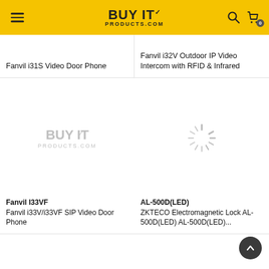BUY IT PRODUCTS.COM
Fanvil i31S Video Door Phone
Fanvil i32V Outdoor IP Video Intercom with RFID & Infrared
[Figure (logo): BUY IT PRODUCTS.COM watermark/placeholder logo in grey]
Fanvil I33VF
Fanvil i33V/i33VF SIP Video Door Phone
[Figure (illustration): Loading spinner / radial lines placeholder icon in grey]
AL-500D(LED)
ZKTECO Electromagnetic Lock AL-500D(LED) AL-500D(LED)...